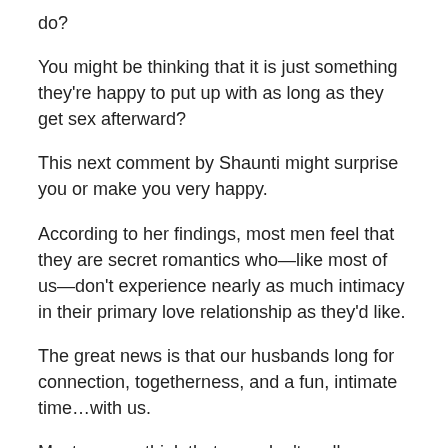do?
You might be thinking that it is just something they're happy to put up with as long as they get sex afterward?
This next comment by Shaunti might surprise you or make you very happy.
According to her findings, most men feel that they are secret romantics who—like most of us—don't experience nearly as much intimacy in their primary love relationship as they'd like.
The great news is that our husbands long for connection, togetherness, and a fun, intimate time…with us.
Most women think that men don't really care about romance but men want romance, too.